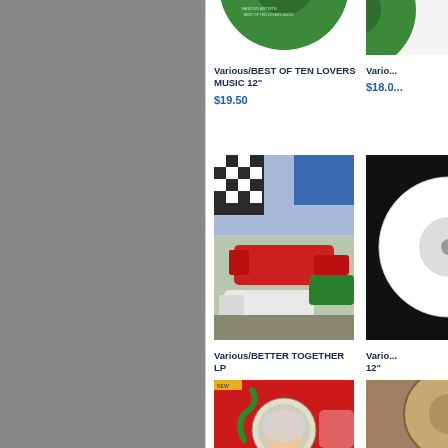[Figure (photo): Partial green vinyl record album cover cropped at top]
Various/BEST OF TEN LOVERS MUSIC 12"
$19.50
[Figure (photo): Partial album cover image cropped at right edge]
Vario...  12"
$18.0...
[Figure (photo): Various/BETTER TOGETHER LP album cover showing racing cars and checkered flag]
Various/BETTER TOGETHER LP
$37.50
[Figure (photo): Partial album cover at right edge with black background and circular design]
Vario... 12"
$18.0...
[Figure (photo): Album cover showing a child in a space helmet on a red background]
[Figure (photo): Partial album cover at right edge cropped]